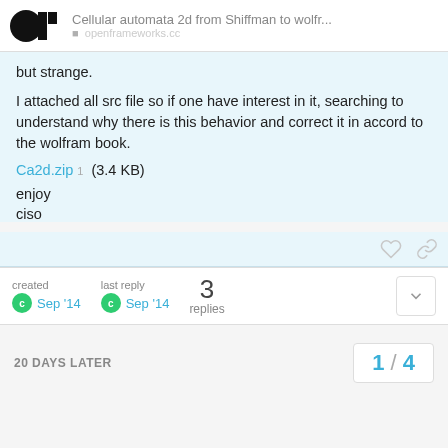Cellular automata 2d from Shiffman to wolfr...
but strange.
I attached all src file so if one have interest in it, searching to understand why there is this behavior and correct it in accord to the wolfram book.
Ca2d.zip  1  (3.4 KB)
enjoy
ciso
created Sep '14   last reply Sep '14   3 replies
20 DAYS LATER
1 / 4